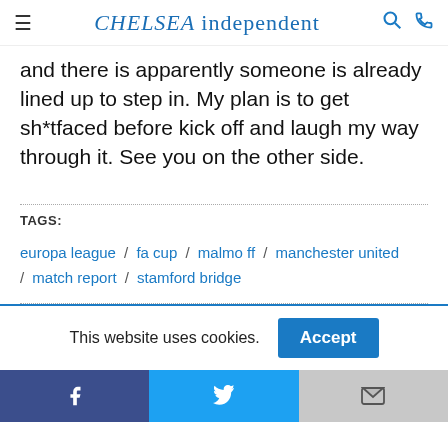CHELSEA independent
and there is apparently someone is already lined up to step in. My plan is to get sh*tfaced before kick off and laugh my way through it. See you on the other side.
TAGS:
europa league / fa cup / malmo ff / manchester united / match report / stamford bridge
This website uses cookies. Accept
Facebook Twitter Gmail